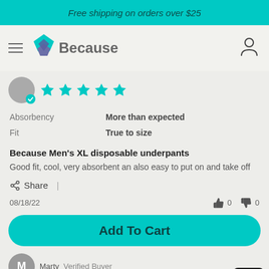Free shipping on orders over $25
[Figure (logo): Because brand logo with teal and purple diamond shape and the word 'Because']
[Figure (other): Five teal stars rating with verified buyer badge]
| Attribute | Value |
| --- | --- |
| Absorbency | More than expected |
| Fit | True to size |
Because Men's XL disposable underpants
Good fit, cool, very absorbent an also easy to put on and take off
Share  |
08/18/22   👍 0   👎 0
Add To Cart
Marty  Verified Buyer
[Figure (other): Five teal stars rating for Marty's review]